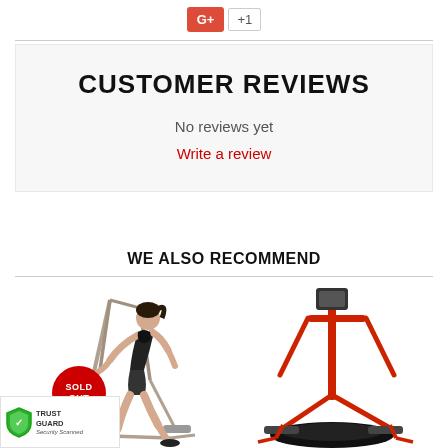[Figure (logo): Google+ +1 button with red background and count]
CUSTOMER REVIEWS
No reviews yet
Write a review
WE ALSO RECOMMEND
[Figure (photo): Woman using an elliptical trainer exercise machine, shown from the side, with a SOLD OUT badge overlay]
[Figure (photo): A red and black elliptical trainer exercise machine]
[Figure (logo): Trust Guard Security Scanned badge with green shield icon]